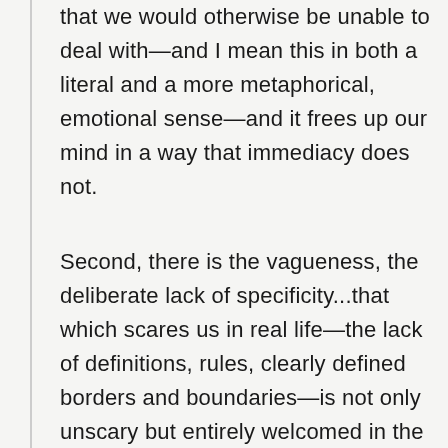that we would otherwise be unable to deal with—and I mean this in both a literal and a more metaphorical, emotional sense—and it frees up our mind in a way that immediacy does not.
Second, there is the vagueness, the deliberate lack of specificity...that which scares us in real life—the lack of definitions, rules, clearly defined borders and boundaries—is not only unscary but entirely welcomed in the fairytale...I can indulge in abstraction